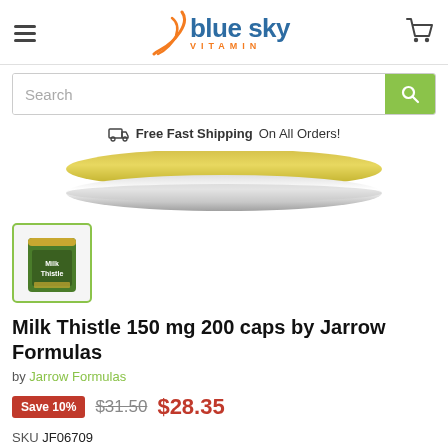Blue Sky Vitamin
[Figure (screenshot): Search bar with green search button]
Free Fast Shipping On All Orders!
[Figure (photo): Bottom of a supplement jar lid viewed from above, silver metallic with yellow-green color visible]
[Figure (photo): Thumbnail of Milk Thistle 150 mg 200 caps by Jarrow Formulas supplement bottle with green label]
Milk Thistle 150 mg 200 caps by Jarrow Formulas
by Jarrow Formulas
Save 10%  $31.50  $28.35
SKU JF06709